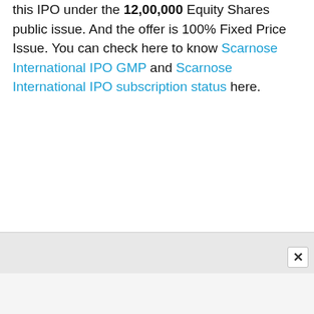this IPO under the 12,00,000 Equity Shares public issue. And the offer is 100% Fixed Price Issue. You can check here to know Scarnose International IPO GMP and Scarnose International IPO subscription status here.